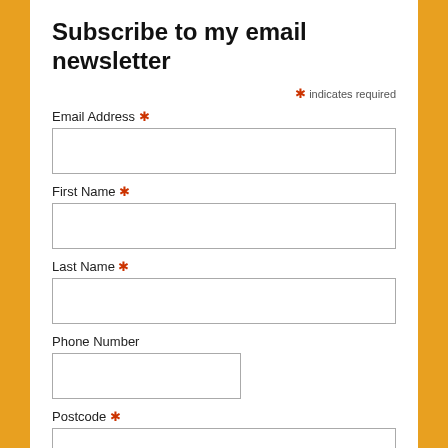Subscribe to my email newsletter
* indicates required
Email Address *
First Name *
Last Name *
Phone Number
Postcode *